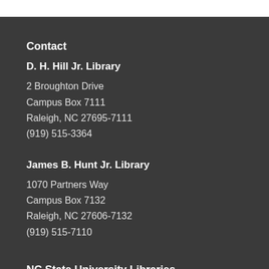Contact
D. H. Hill Jr. Library
2 Broughton Drive
Campus Box 7111
Raleigh, NC 27695-7111
(919) 515-3364
James B. Hunt Jr. Library
1070 Partners Way
Campus Box 7132
Raleigh, NC 27606-7132
(919) 515-7110
NC State University Libraries